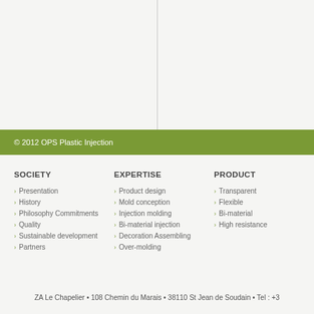© 2012 OPS Plastic Injection
SOCIETY
Presentation
History
Philosophy Commitments
Quality
Sustainable development
Partners
EXPERTISE
Product design
Mold conception
Injection molding
Bi-material injection
Decoration Assembling
Over-molding
PRODUCT
Transparent
Flexible
Bi-material
High resistance
ZA Le Chapelier • 108 Chemin du Marais • 38110 St Jean de Soudain • Tel : +3